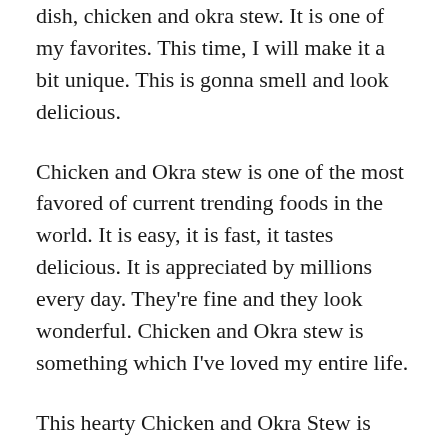dish, chicken and okra stew. It is one of my favorites. This time, I will make it a bit unique. This is gonna smell and look delicious.
Chicken and Okra stew is one of the most favored of current trending foods in the world. It is easy, it is fast, it tastes delicious. It is appreciated by millions every day. They’re fine and they look wonderful. Chicken and Okra stew is something which I’ve loved my entire life.
This hearty Chicken and Okra Stew is something like Brunswick stew, that old-fashioned Southern favorite-only the Haitian version is certainly fierier, thanks to the habanero. If you don't like it quite so spicy, use a seeded, minced